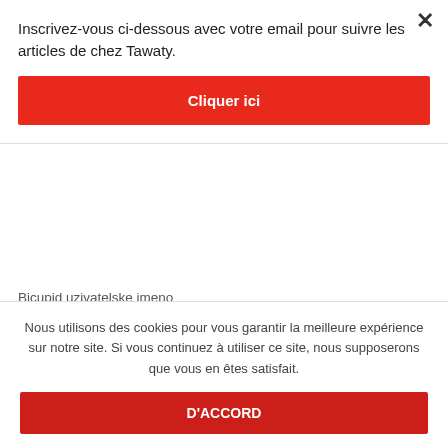Inscrivez-vous ci-dessous avec votre email pour suivre les articles de chez Tawaty.
Cliquer ici
Bicupid uzivatelske jmeno
bicupid Veut discuter
Bicupid visitors
big payday loans
BiggerCity dating sites
Nous utilisons des cookies pour vous garantir la meilleure expérience sur notre site. Si vous continuez à utiliser ce site, nous supposerons que vous en êtes satisfait.
D'ACCORD